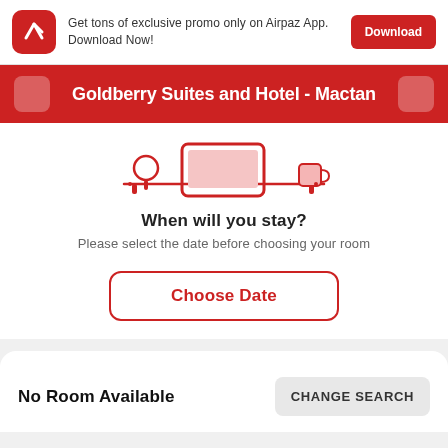Get tons of exclusive promo only on Airpaz App. Download Now!
Download
Goldberry Suites and Hotel - Mactan
[Figure (illustration): Hotel/travel related illustration with red furniture and luggage icons on white background]
When will you stay?
Please select the date before choosing your room
Choose Date
No Room Available
CHANGE SEARCH